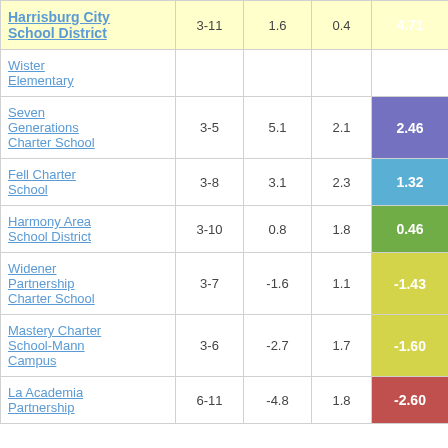| School/District | Grades | Col3 | Col4 | Score |
| --- | --- | --- | --- | --- |
| Harrisburg City School District | 3-11 | 1.6 | 0.4 | 4.71 |
| Wister Elementary |  |  |  |  |
| Seven Generations Charter School | 3-5 | 5.1 | 2.1 | 2.46 |
| Fell Charter School | 3-8 | 3.1 | 2.3 | 1.32 |
| Harmony Area School District | 3-10 | 0.8 | 1.8 | 0.46 |
| Widener Partnership Charter School | 3-7 | -1.6 | 1.1 | -1.43 |
| Mastery Charter School-Mann Campus | 3-6 | -2.7 | 1.7 | -1.60 |
| La Academia Partnership | 6-11 | -4.8 | 1.8 | -2.60 |